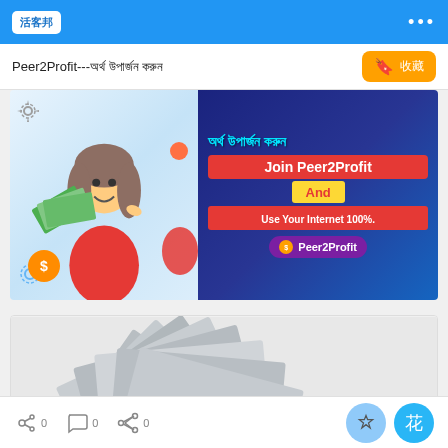活客邦 navigation bar
Peer2Profit---অর্থ উপার্জন করুন
[Figure (infographic): Peer2Profit advertisement banner with Bengali text 'অর্থ উপার্জন করুন', woman holding money, text: Join Peer2Profit And Use Your Internet 100%. Purple Peer2Profit badge.]
[Figure (photo): Hand holding a fan of US dollar bills, black and white style photo]
0 likes, 0 comments, 0 shares. Gift and flower buttons.